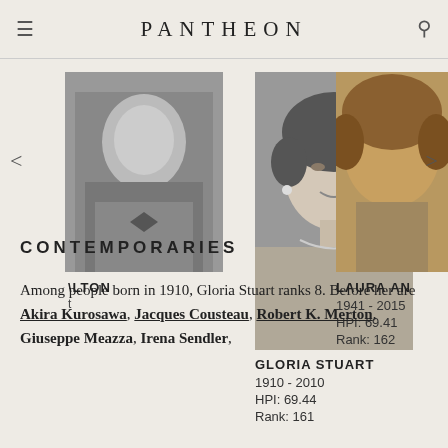PANTHEON
[Figure (photo): Partial black and white photo of a man in a suit on the left side of a carousel]
[Figure (photo): Black and white portrait photo of Gloria Stuart, center of carousel]
[Figure (photo): Partial color photo of Laura An on the right side of carousel]
ALTON
t
GLORIA STUART
1910 - 2010
HPI: 69.44
Rank: 161
LAURA AN
1941 - 2015
HPI: 69.41
Rank: 162
CONTEMPORARIES
Among people born in 1910, Gloria Stuart ranks 8. Before her are Akira Kurosawa, Jacques Cousteau, Robert K. Merton, Giuseppe Meazza, Irena Sendler,